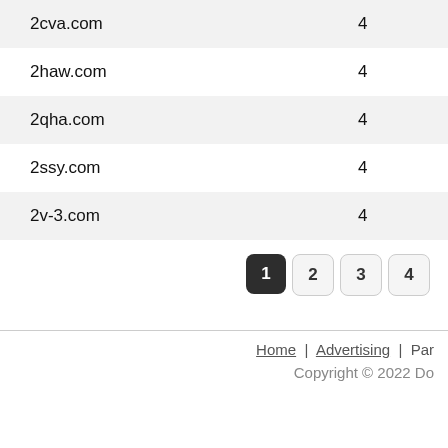| Domain | Count |
| --- | --- |
| 2cva.com | 4 |
| 2haw.com | 4 |
| 2qha.com | 4 |
| 2ssy.com | 4 |
| 2v-3.com | 4 |
Home | Advertising | Par
Copyright © 2022 Do